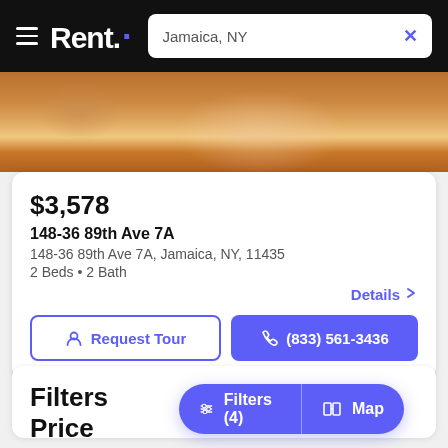Rent. | Jamaica, NY
[Figure (photo): Interior photo showing hardwood floors and white furniture]
$3,578
148-36 89th Ave 7A
148-36 89th Ave 7A, Jamaica, NY, 11435
2 Beds • 2 Bath
Details
Request Tour
(833) 561-3436
Filters
Price
Filters (4)
Map